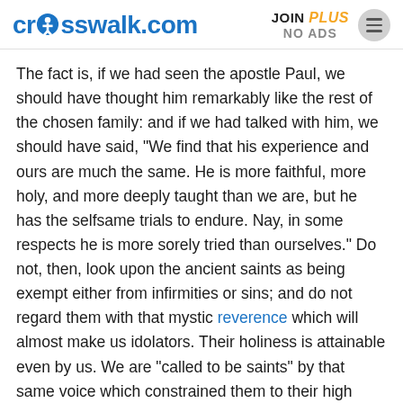crosswalk.com | JOIN PLUS NO ADS
The fact is, if we had seen the apostle Paul, we should have thought him remarkably like the rest of the chosen family: and if we had talked with him, we should have said, "We find that his experience and ours are much the same. He is more faithful, more holy, and more deeply taught than we are, but he has the selfsame trials to endure. Nay, in some respects he is more sorely tried than ourselves." Do not, then, look upon the ancient saints as being exempt either from infirmities or sins; and do not regard them with that mystic reverence which will almost make us idolators. Their holiness is attainable even by us. We are "called to be saints" by that same voice which constrained them to their high vocation.